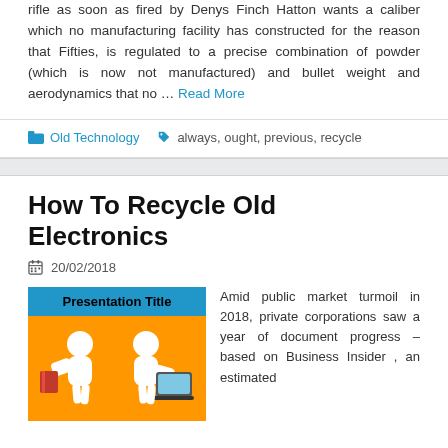rifle as soon as fired by Denys Finch Hatton wants a caliber which no manufacturing facility has constructed for the reason that Fifties, is regulated to a precise combination of powder (which is now not manufactured) and bullet weight and aerodynamics that no … Read More
Old Technology   always, ought, previous, recycle
How To Recycle Old Electronics
20/02/2018
[Figure (illustration): Presentation slide thumbnail with blue header reading 'Presentation Title' and orange background with cartoon figures holding books and a laptop]
Amid public market turmoil in 2018, private corporations saw a year of document progress – based on Business Insider , an estimated